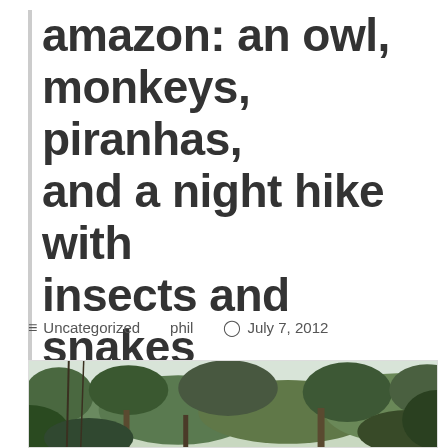amazon: an owl, monkeys, piranhas, and a night hike with insects and snakes
≡ Uncategorized   phil   ⊙ July 7, 2012
[Figure (photo): Photo of Amazon rainforest canopy showing dense tropical trees with lush green foliage against a pale sky, viewed from slightly below looking upward through the treetops]